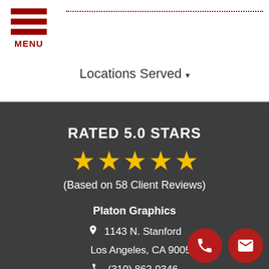MENU | Locations Served
RATED 5.0 STARS
[Figure (infographic): Five gold stars rating display]
(Based on 58 Client Reviews)
Platon Graphics
1143 N. Stanford
Los Angeles, CA 90059
(310) 862-0346
Fax: (310) 227-8026